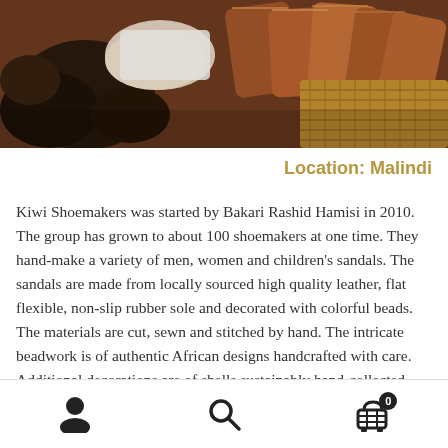[Figure (photo): Photo of leather sandals and shoemaking materials including dark stones and brown leather pieces being crafted]
Location: Malindi
Kiwi Shoemakers was started by Bakari Rashid Hamisi in 2010. The group has grown to about 100 shoemakers at one time. They hand-make a variety of men, women and children's sandals. The sandals are made from locally sourced high quality leather, flat flexible, non-slip rubber sole and decorated with colorful beads. The materials are cut, sewn and stitched by hand. The intricate beadwork is of authentic African designs handcrafted with care. Additional decorations are of shells sustainably hand-collected along the ocean shore. Initially, marketing and
Navigation bar with user, search, and cart (0) icons